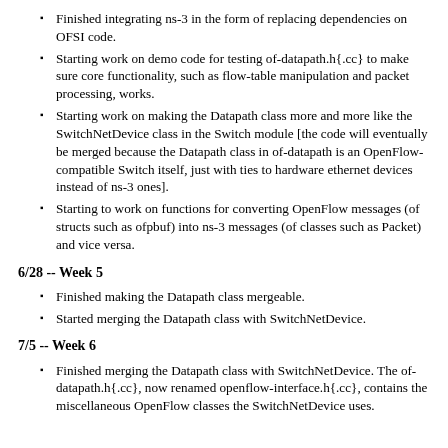Finished integrating ns-3 in the form of replacing dependencies on OFSI code.
Starting work on demo code for testing of-datapath.h{.cc} to make sure core functionality, such as flow-table manipulation and packet processing, works.
Starting work on making the Datapath class more and more like the SwitchNetDevice class in the Switch module [the code will eventually be merged because the Datapath class in of-datapath is an OpenFlow-compatible Switch itself, just with ties to hardware ethernet devices instead of ns-3 ones].
Starting to work on functions for converting OpenFlow messages (of structs such as ofpbuf) into ns-3 messages (of classes such as Packet) and vice versa.
6/28 -- Week 5
Finished making the Datapath class mergeable.
Started merging the Datapath class with SwitchNetDevice.
7/5 -- Week 6
Finished merging the Datapath class with SwitchNetDevice. The of-datapath.h{.cc}, now renamed openflow-interface.h{.cc}, contains the miscellaneous OpenFlow classes the SwitchNetDevice uses.